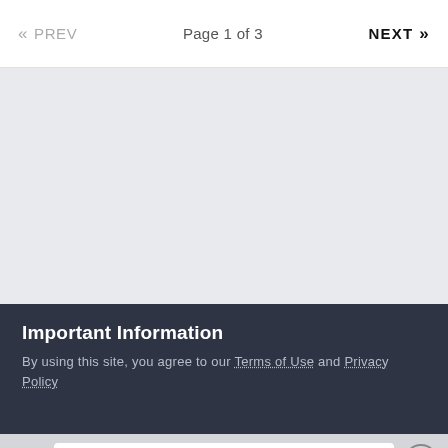« PREV    Page 1 of 3    NEXT »
Important Information
By using this site, you agree to our Terms of Use and Privacy Policy
✓ I accept